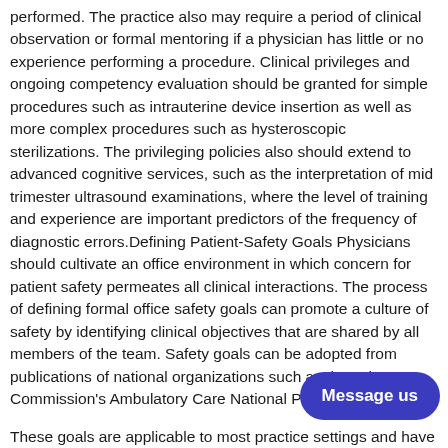performed. The practice also may require a period of clinical observation or formal mentoring if a physician has little or no experience performing a procedure. Clinical privileges and ongoing competency evaluation should be granted for simple procedures such as intrauterine device insertion as well as more complex procedures such as hysteroscopic sterilizations. The privileging policies also should extend to advanced cognitive services, such as the interpretation of mid trimester ultrasound examinations, where the level of training and experience are important predictors of the frequency of diagnostic errors.Defining Patient-Safety Goals Physicians should cultivate an office environment in which concern for patient safety permeates all clinical interactions. The process of defining formal office safety goals can promote a culture of safety by identifying clinical objectives that are shared by all members of the team. Safety goals can be adopted from publications of national organizations such as the Joint Commission's Ambulatory Care National Patient... These goals are applicable to most practice settings and have